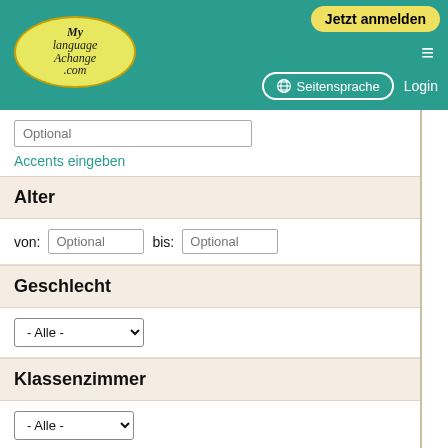[Figure (screenshot): MyLanguageExchange.com website header with teal background, logo, Jetzt anmelden button, hamburger menu, Seitensprache button, and Login link]
Optional
Accents eingeben
Alter
von: Optional  bis: Optional
Geschlecht
- Alle -
Klassenzimmer
- Alle -
Suche einen Brieffreund Austausch (via E-mail)
- Alle -